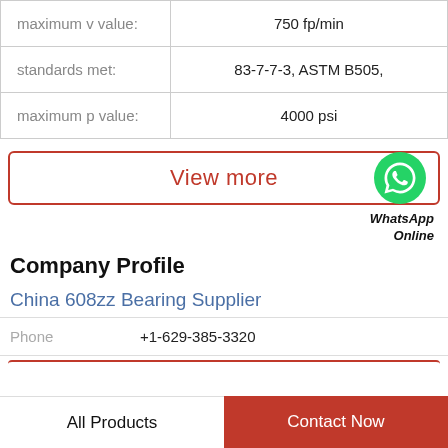|  |  |
| --- | --- |
| maximum v value: | 750 fp/min |
| standards met: | 83-7-7-3, ASTM B505, |
| maximum p value: | 4000 psi |
[Figure (other): View more button with red border and WhatsApp icon on the right]
WhatsApp Online
Company Profile
China 608zz Bearing Supplier
Phone  +1-629-385-3320
All Products  |  Contact Now